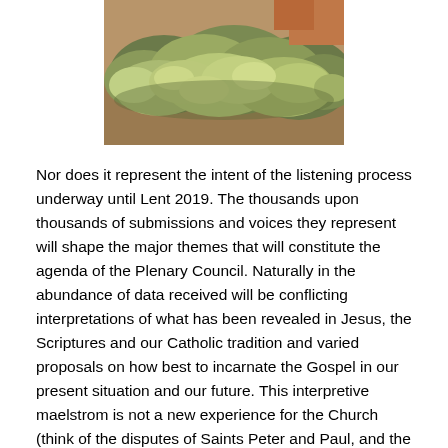[Figure (photo): Close-up photo of small leafy green-grey plants or shrubs, possibly growing in rocky or dry terrain.]
Nor does it represent the intent of the listening process underway until Lent 2019. The thousands upon thousands of submissions and voices they represent will shape the major themes that will constitute the agenda of the Plenary Council. Naturally in the abundance of data received will be conflicting interpretations of what has been revealed in Jesus, the Scriptures and our Catholic tradition and varied proposals on how best to incarnate the Gospel in our present situation and our future. This interpretive maelstrom is not a new experience for the Church (think of the disputes of Saints Peter and Paul, and the divergences of the Pauline and Johannine communities).